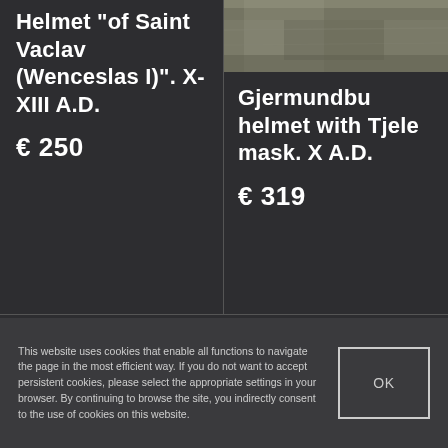Helmet "of Saint Vaclav (Wenceslas I)". X-XIII A.D.
€ 250
[Figure (photo): Partial view of a historical helmet, olive/grey tones, top portion visible]
Gjermundbu helmet with Tjele mask. X A.D.
€ 319
This website uses cookies that enable all functions to navigate the page in the most efficient way. If you do not want to accept persistent cookies, please select the appropriate settings in your browser. By continuing to browse the site, you indirectly consent to the use of cookies on this website.